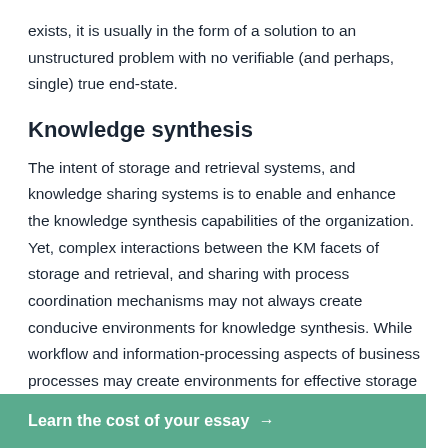exists, it is usually in the form of a solution to an unstructured problem with no verifiable (and perhaps, single) true end-state.
Knowledge synthesis
The intent of storage and retrieval systems, and knowledge sharing systems is to enable and enhance the knowledge synthesis capabilities of the organization. Yet, complex interactions between the KM facets of storage and retrieval, and sharing with process coordination mechanisms may not always create conducive environments for knowledge synthesis. While workflow and information-processing aspects of business processes may create environments for effective storage and sharing practices, the decision making and motivation on knowledge reuse
Learn the cost of your essay →